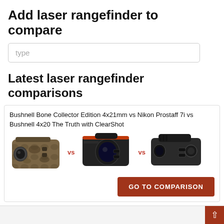Add laser rangefinder to compare
type
Latest laser rangefinder comparisons
Bushnell Bone Collector Edition 4x21mm vs Nikon Prostaff 7i vs Bushnell 4x20 The Truth with ClearShot
[Figure (photo): Three laser rangefinders side by side: Bushnell Bone Collector Edition 4x21mm (camo), Nikon Prostaff 7i (black/orange), and Bushnell 4x20 The Truth with ClearShot (black), separated by 'vs' labels in orange-red.]
GO TO COMPARISON